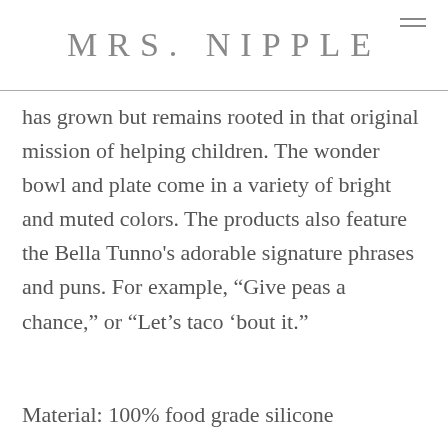MRS. NIPPLE
has grown but remains rooted in that original mission of helping children. The wonder bowl and plate come in a variety of bright and muted colors. The products also feature the Bella Tunno's adorable signature phrases and puns. For example, “Give peas a chance,” or “Let’s taco ‘bout it.”
Material: 100% food grade silicone